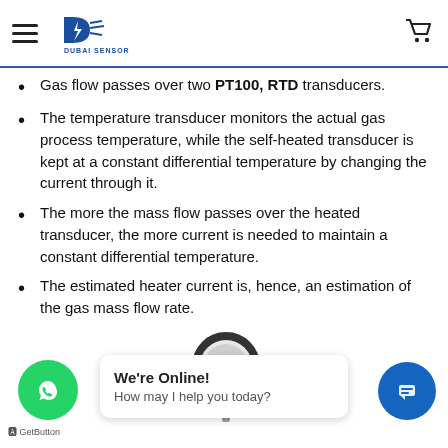Dubai Sensor — navigation header with hamburger menu, logo, and cart icon
Gas flow passes over two PT100, RTD transducers.
The temperature transducer monitors the actual gas process temperature, while the self-heated transducer is kept at a constant differential temperature by changing the current through it.
The more the mass flow passes over the heated transducer, the more current is needed to maintain a constant differential temperature.
The estimated heater current is, hence, an estimation of the gas mass flow rate.
[Figure (photo): Industrial gas mass flow meter sensor device, white cylindrical housing with green display screen]
We're Online! How may I help you today?